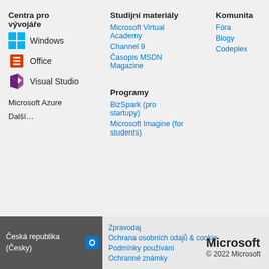Centra pro vývojáře
Windows
Office
Visual Studio
Microsoft Azure
Další…
Studijní materiály
Microsoft Virtual Academy
Channel 9
Časopis MSDN Magazine
Komunita
Fóra
Blogy
Codeplex
Podpora
Samoobslužná podpora
Programy
BizSpark (pro startupy)
Microsoft Imagine (for students)
Česká republika (Česky)  Zpravodaj  Ochrana osobních údajů & cookie  Podmínky používání  Ochranné známky  © 2022 Microsoft